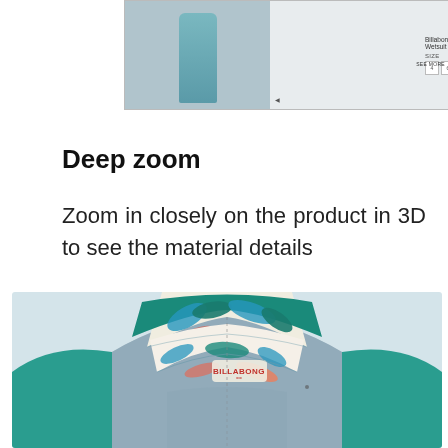[Figure (screenshot): Screenshot of a product listing page showing a mannequin wearing a teal wetsuit with size selection boxes and navigation elements]
Deep zoom
Zoom in closely on the product in 3D to see the material details
[Figure (photo): Close-up 3D render of the back shoulder area of a Billabong wetsuit showing teal neoprene with tropical floral print (palm leaves in teal, white, and coral/pink) on the collar and panel sections, with a gray/blue textured back panel]